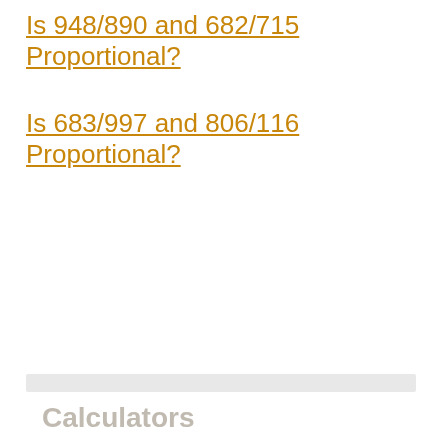Is 948/890 and 682/715 Proportional?
Is 683/997 and 806/116 Proportional?
Calculators